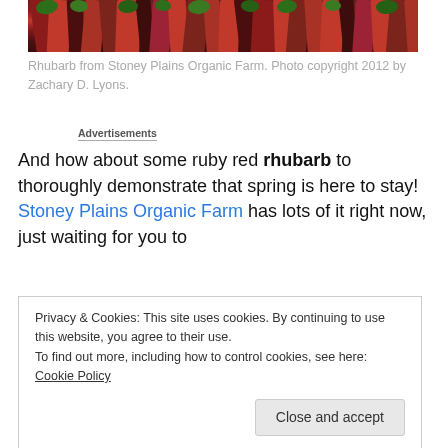[Figure (photo): Close-up photo of ruby red rhubarb stalks from Stoney Plains Organic Farm, showing red and dark purple stalks with green leafy tops.]
Rhubarb from Stoney Plains Organic Farm. Photo copyright 2012 by Zachary D. Lyons.
Advertisements
And how about some ruby red rhubarb to thoroughly demonstrate that spring is here to stay! Stoney Plains Organic Farm has lots of it right now, just waiting for you to
Privacy & Cookies: This site uses cookies. By continuing to use this website, you agree to their use.
To find out more, including how to control cookies, see here: Cookie Policy

Close and accept